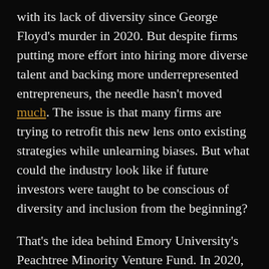with its lack of diversity since George Floyd's murder in 2020. But despite firms putting more effort into hiring more diverse talent and backing more underrepresented entrepreneurs, the needle hasn't moved much. The issue is that many firms are trying to retrofit this new lens onto existing strategies while unlearning biases. But what could the industry look like if future investors were taught to be conscious of diversity and inclusion from the beginning?
That's the idea behind Emory University's Peachtree Minority Venture Fund. In 2020, '21 MBA student Willie Sullivan got involved with a school consulting project that looked at how Emory could best support Atlanta's diverse set of entrepreneurs. When he interviewed Black entrepreneurs about the